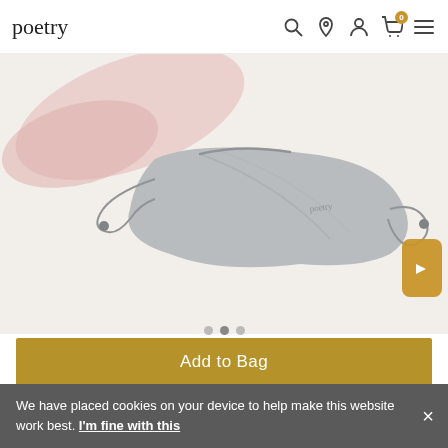poetry
[Figure (photo): A grey fabric face mask with adjustable nose wire and ear loops, laying flat on a white surface. A pink mask is partially visible in the upper left corner. The Poetry brand logo is subtly visible on the grey mask.]
Add to Bag
[Figure (logo): PayPal payment button with PayPal logo in blue text]
[Figure (logo): PayPal Pay Later button with P logo and 'Pay Later' text in blue]
We have placed cookies on your device to help make this website work best. I'm fine with this